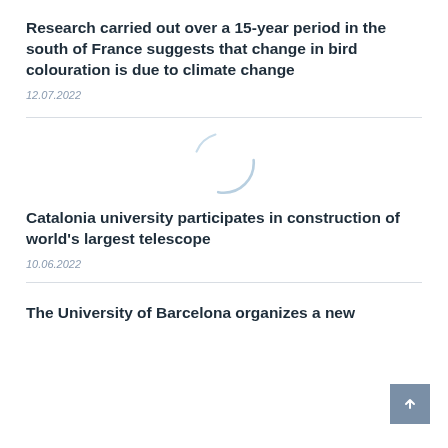Research carried out over a 15-year period in the south of France suggests that change in bird colouration is due to climate change
12.07.2022
[Figure (other): Loading spinner / placeholder circle graphic]
Catalonia university participates in construction of world's largest telescope
10.06.2022
The University of Barcelona organizes a new